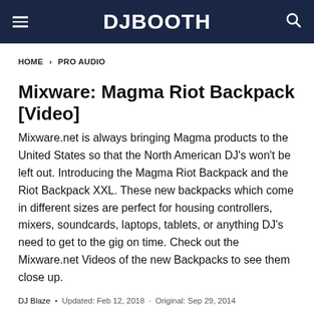DJBOOTH
HOME > PRO AUDIO
Mixware: Magma Riot Backpack [Video]
Mixware.net is always bringing Magma products to the United States so that the North American DJ's won't be left out. Introducing the Magma Riot Backpack and the Riot Backpack XXL. These new backpacks which come in different sizes are perfect for housing controllers, mixers, soundcards, laptops, tablets, or anything DJ's need to get to the gig on time. Check out the Mixware.net Videos of the new Backpacks to see them close up.
DJ Blaze • Updated: Feb 12, 2018 · Original: Sep 29, 2014